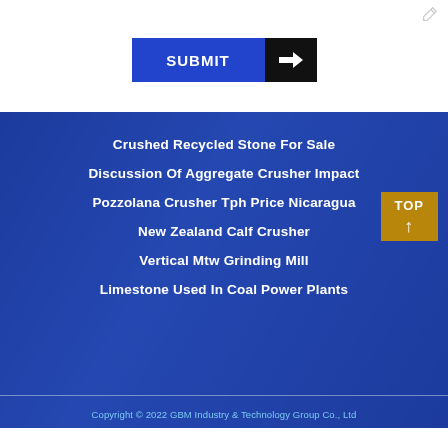[Figure (other): Submit button with blue background and arrow icon, with a small edit pencil icon in top right corner]
Crushed Recycled Stone For Sale
Discussion Of Aggregate Crusher Impact
Pozzolana Crusher Tph Price Nicaragua
New Zealand Calf Crusher
Vertical Mtw Grinding Mill
Limestone Used In Coal Power Plants
Copyright © 2022 GBM Industry & Technology Group Co., Ltd